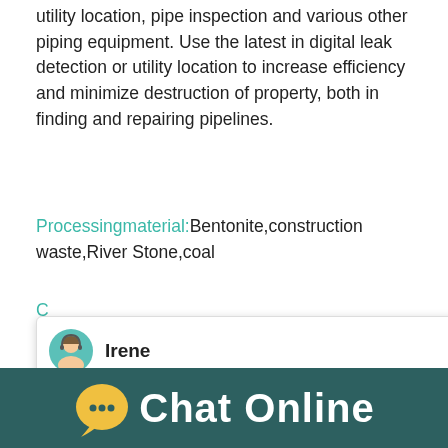utility location, pipe inspection and various other piping equipment. Use the latest in digital leak detection or utility location to increase efficiency and minimize destruction of property, both in finding and repairing pipelines.
Processingmaterial:Bentonite,construction waste,River Stone,coal
[Figure (screenshot): Chat popup with avatar of Irene, asking user to choose language: 1.English 2.Español 3.русский 4.Français 5.bahasa Indonesia 6. عربسعربی]
[Figure (photo): Industrial piping equipment photo and machine image on right side with number badge '1' and 'Click me to chat>>' button]
Chat Online